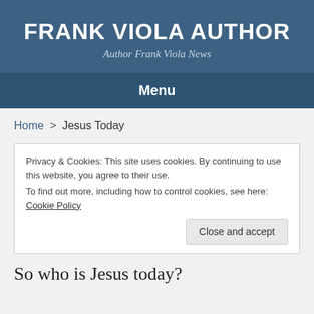FRANK VIOLA AUTHOR
Author Frank Viola News
Menu
Home > Jesus Today
Privacy & Cookies: This site uses cookies. By continuing to use this website, you agree to their use.
To find out more, including how to control cookies, see here: Cookie Policy
Close and accept
So who is Jesus today?